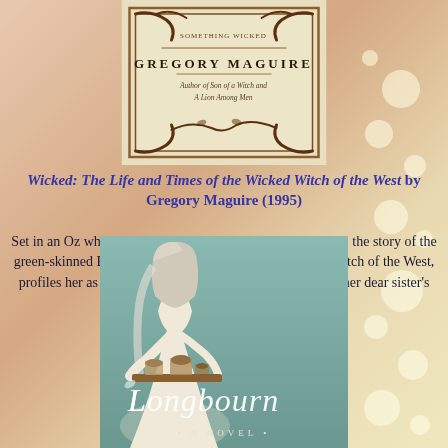[Figure (illustration): Top portion of a book cover for a Gregory Maguire book, showing an ornate border with the author name 'Gregory Maguire' and subtitle text 'Author of Son of a Witch and A Lion Among Men' in an antiqued, cream-colored design with dark vine decorations.]
Wicked: The Life and Times of the Wicked Witch of the West by Gregory Maguire (1995)
Set in an Oz where morose Wizard battles suicidal thoughts, the story of the green-skinned Elphaba, otherwise known as the Wicked Witch of the West, profiles her as an animal rights activist striving to avenge her dear sister's death.
[Figure (illustration): Book cover of 'Longbourn: A Novel' showing a woman in a light dress carrying a tray with cups, set against a teal/green background. The title 'Longbourn' is displayed in large white italic script letters with '• A NOVEL •' below.]